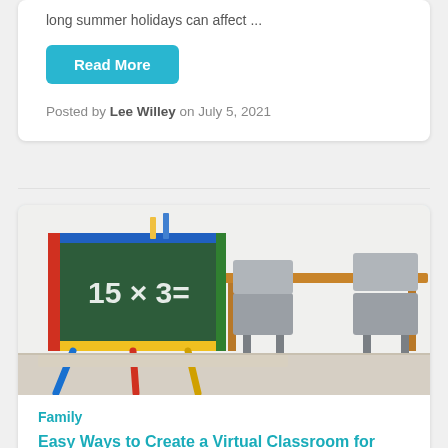long summer holidays can affect ...
Read More
Posted by Lee Willey on July 5, 2021
[Figure (photo): A classroom scene with a colorful chalkboard easel showing '15 x 3 =' and a table with grey chairs in the background]
Family
Easy Ways to Create a Virtual Classroom for